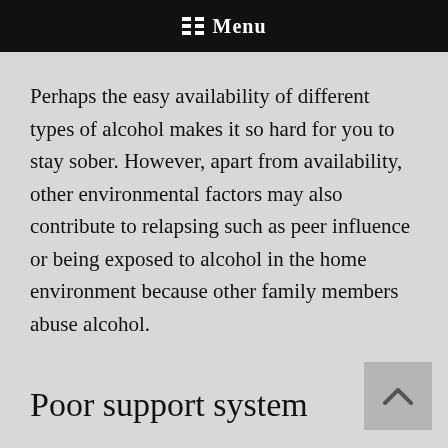Menu
Perhaps the easy availability of different types of alcohol makes it so hard for you to stay sober. However, apart from availability, other environmental factors may also contribute to relapsing such as peer influence or being exposed to alcohol in the home environment because other family members abuse alcohol.
Poor support system